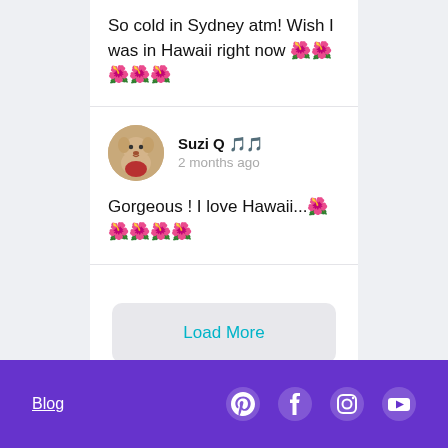So cold in Sydney atm! Wish I was in Hawaii right now 🌺🌺🌺🌺🌺
Suzi Q 🎵🎵 · 2 months ago · Gorgeous ! I love Hawaii...🌺🌺🌺🌺🌺
Load More
Blog · Pinterest · Facebook · Instagram · YouTube